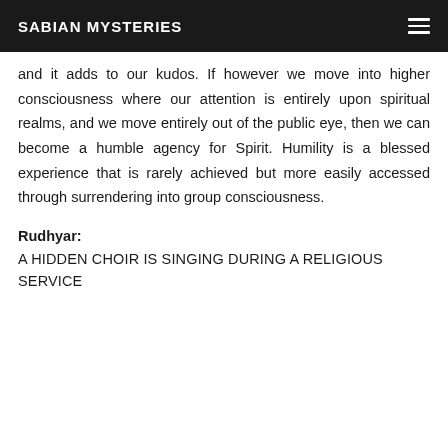SABIAN MYSTERIES
and it adds to our kudos. If however we move into higher consciousness where our attention is entirely upon spiritual realms, and we move entirely out of the public eye, then we can become a humble agency for Spirit. Humility is a blessed experience that is rarely achieved but more easily accessed through surrendering into group consciousness.
Rudhyar:
A HIDDEN CHOIR IS SINGING DURING A RELIGIOUS SERVICE